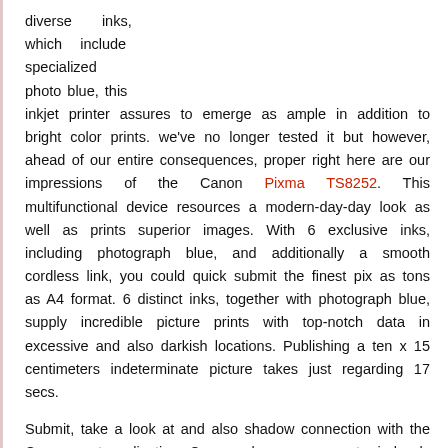diverse inks, which include specialized photo blue, this inkjet printer assures to emerge as ample in addition to bright color prints. we've no longer tested it but however, ahead of our entire consequences, proper right here are our impressions of the Canon Pixma TS8252. This multifunctional device resources a modern-day-day look as well as prints superior images. With 6 exclusive inks, including photograph blue, and additionally a smooth cordless link, you could quick submit the finest pix as tons as A4 format. 6 distinct inks, together with photograph blue, supply incredible picture prints with top-notch data in excessive and also darkish locations. Publishing a ten x 15 centimeters indeterminate picture takes just regarding 17 secs.
Submit, take a look at and also shadow connection with the Canon post application. Conversely, you can post wirelessly via AirPrint (iPhone) or Mopria (Android) without a program. test-to-cloud and also experiment-to-electronic mail is simply offered whilst using Canon preliminary inks. The capabilities of the multifunctional system may be simply managed by using the 10.8 centimeters (4.3 inches) touch display. The consumer-pleasant patron advice in addition to the